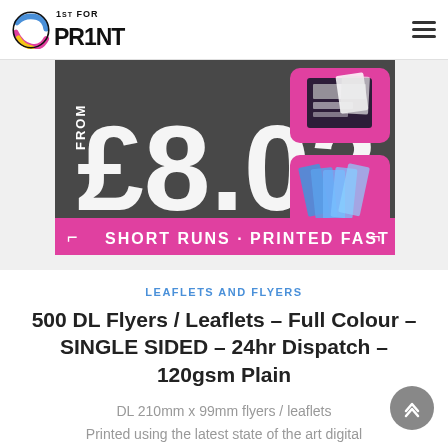1st For Print logo and navigation
[Figure (photo): Promotional banner showing £8.03 price in large white text on dark grey textured background with 'FROM' label, product images of flyers/leaflets on right side, and pink banner at bottom reading 'SHORT RUNS · PRINTED FAST']
LEAFLETS AND FLYERS
500 DL Flyers / Leaflets – Full Colour – SINGLE SIDED – 24hr Dispatch – 120gsm Plain
DL 210mm x 99mm flyers / leaflets
Printed using the latest state of the art digital printing equipment to produce a product of exceptional quality with sharp vivid colours and a crisp clean look. We use high quality